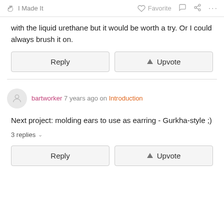I Made It   Favorite   ...
with the liquid urethane but it would be worth a try. Or I could always brush it on.
Reply   Upvote
bartworker 7 years ago on Introduction
Next project: molding ears to use as earring - Gurkha-style ;)
3 replies
Reply   Upvote